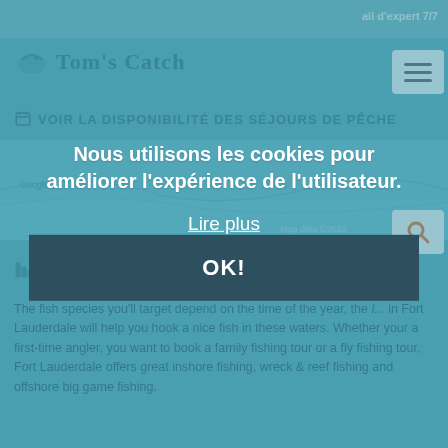ail d'expert 7/7
Tom's Catch
VOIR LA DISPONIBILITÉ DES SÉJOURS DE PÊCHE
[Figure (map): Map showing Fort Lauderdale area, with map copyright data ©2022]
CONSEILS, APPÂTS, THÉORIES & PLUS
The fish species you'll target depend on the time of the year, the ... in Fort Lauderdale will help you hook a nice fish in these waters. Whether your a first-time angler, you want to book a family fishing tour or a fly fishing tour, Fort Lauderdale offers great inshore fishing, wreck & reef fishing and offshore big game fishing.
Nous utilisons les cookies pour améliorer l'expérience de l'utilisateur.
Lire plus
OK!